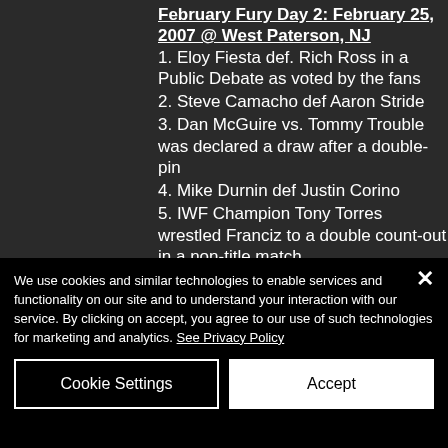February Fury Day 2: February 25, 2007 @ West Paterson, NJ
1. Eloy Fiesta def. Rich Ross in a Public Debate as voted by the fans
2. Steve Camacho def Aaron Stride
3. Dan McGuire vs. Tommy Trouble was declared a draw after a double-pin
4. Mike Durnin def Justin Corino
5. IWF Champion Tony Torres wrestled Franciz to a double count-out in a non-title match
6. Fred Sampson def American Champion Travis Blake by...
We use cookies and similar technologies to enable services and functionality on our site and to understand your interaction with our service. By clicking on accept, you agree to our use of such technologies for marketing and analytics. See Privacy Policy
Cookie Settings | Accept